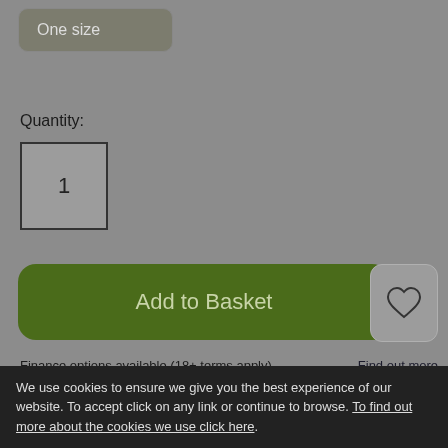One size
Quantity:
1
Add to Basket
Finance options available (18+ terms apply)
Find out more
PayPal
The essential map for outdoor activities in Liddesdale and Kershope Forest. The OS Explorer Map is the Ordnance Survey's most detailed folding map and is recommended for anyone enjoying outdoor activities including walking, horse
We use cookies to ensure we give you the best experience of our website. To accept click on any link or continue to browse. To find out more about the cookies we use click here.